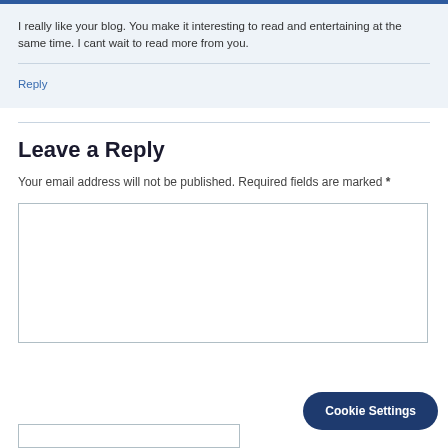I really like your blog. You make it interesting to read and entertaining at the same time. I cant wait to read more from you.
Reply
Leave a Reply
Your email address will not be published. Required fields are marked *
[Figure (screenshot): Empty comment textarea input box]
Cookie Settings